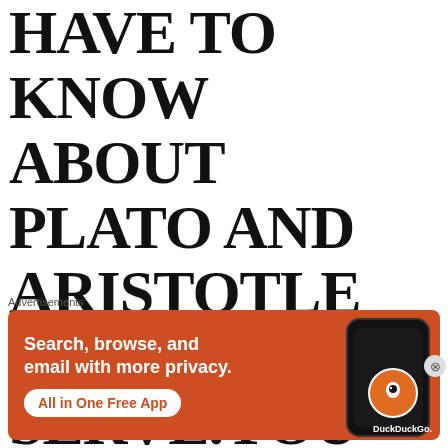HAVE TO KNOW ABOUT PLATO AND ARISTOTLE TO SERVE. YOU DON'T HAVE TO KNOW EINSTEIN'S THEORY OF RELATIVITY TO SERVE. YOU DON'T HAVE TO KNOW THE...
[Figure (advertisement): DuckDuckGo advertisement banner with orange background showing 'Search, browse, and email with more privacy. All in One Free App' with a phone image and DuckDuckGo logo]